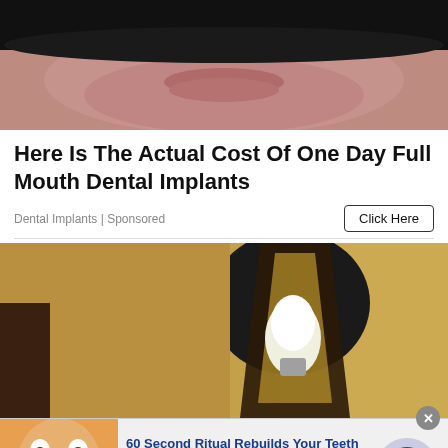[Figure (photo): Close-up photo of a man's lower face showing lips and stubble, partially cropped from above]
Here Is The Actual Cost Of One Day Full Mouth Dental Implants
Dental Implants | Sponsored
[Figure (photo): Photo of an outdoor wall-mounted lantern light fixture with a light bulb visible inside, mounted on a textured stucco wall]
[Figure (photo): Advertisement banner: thumbnail of a man with wide eyes and big smile showing teeth, with text '60 Second Ritual Rebuilds Your Teeth and', n/a, patriothealth.zone, with arrow button]